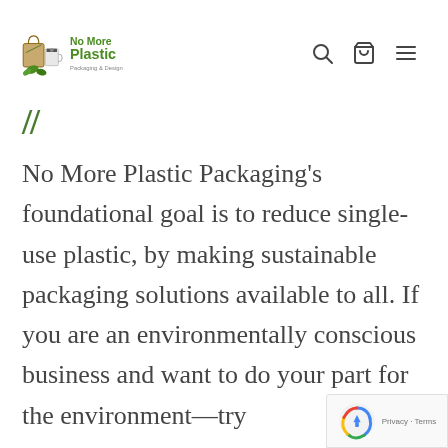[Figure (logo): No More Plastic Packaging & Design logo with shopping bag, coffee cup, and leaf icons in green and brown colors]
"
No More Plastic Packaging's foundational goal is to reduce single-use plastic, by making sustainable packaging solutions available to all. If you are an environmentally conscious business and want to do your part for the environment—try